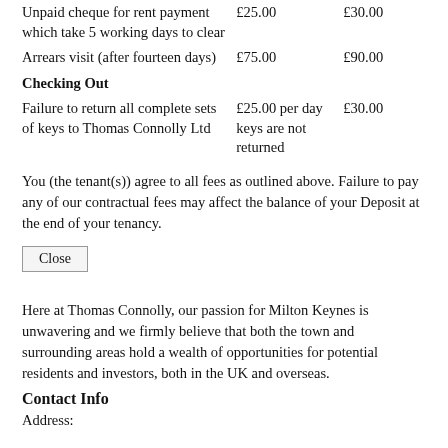|  |  |  |
| --- | --- | --- |
| Unpaid cheque for rent payment which take 5 working days to clear | £25.00 | £30.00 |
| Arrears visit (after fourteen days) | £75.00 | £90.00 |
| Checking Out |  |  |
| Failure to return all complete sets of keys to Thomas Connolly Ltd | £25.00 per day keys are not returned | £30.00 |
You (the tenant(s)) agree to all fees as outlined above. Failure to pay any of our contractual fees may affect the balance of your Deposit at the end of your tenancy.
Close
Here at Thomas Connolly, our passion for Milton Keynes is unwavering and we firmly believe that both the town and surrounding areas hold a wealth of opportunities for potential residents and investors, both in the UK and overseas.
Contact Info
Address: